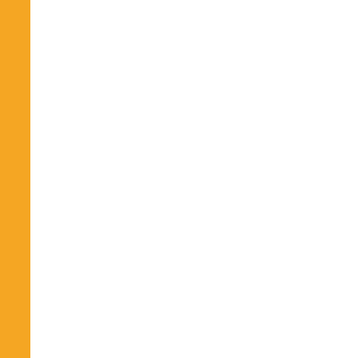| No. | Date | Title |
| --- | --- | --- |
|  |  | Boxes Smal… |
| 444. | 28/03/2018 | Set up of hel… |
| 445. | 21/03/2018 | Date of OMR… |
| 446. | 16/03/2018 | Press Releas… |
| 447. | 16/03/2018 | Press Releas… |
| 448. | 08/03/2018 | Grant of Gol… Courses in J… June 2018 |
| 449. | 05/03/2018 | Quotations f… |
| 450. | 26/02/2018 | Submitting o… Centre/s dur… |
| 451. | 26/02/2018 | Submitting o… (Small pack) |
| 452. | 26/02/2018 | Set up of hel… |
| 453. | 04/01/2018 | Capion canc… Semester (S… USOL candi… |
| 454. | 02/01/2018 | ADDITIONS… Technology) … (Regular/Rea… |
|  | 29/12/2017 | Examination… |